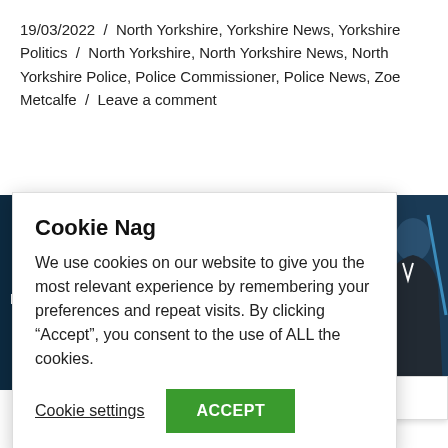19/03/2022 / North Yorkshire, Yorkshire News, Yorkshire Politics / North Yorkshire, North Yorkshire News, North Yorkshire Police, Police Commissioner, Police News, Zoe Metcalfe / Leave a comment
[Figure (screenshot): Dark blue/navy banner ad with large partial text '£1.00...' and 'ths' visible, along with 'ctober 2021' and a person visible on the right side]
[Figure (screenshot): Cookie consent dialog overlay with title 'Cookie Nag', body text about cookies, 'Cookie settings' link and green 'ACCEPT' button]
ries
just recently, warning of a spate
Follow